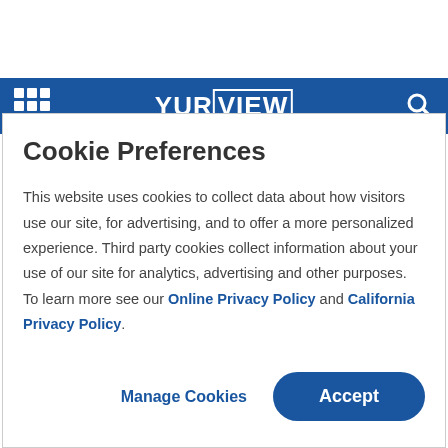[Figure (screenshot): YurView website navigation bar with blue background, grid menu icon on left, YurView logo in center, search icon on right]
Cookie Preferences
This website uses cookies to collect data about how visitors use our site, for advertising, and to offer a more personalized experience. Third party cookies collect information about your use of our site for analytics, advertising and other purposes. To learn more see our Online Privacy Policy and California Privacy Policy.
Manage Cookies | Accept